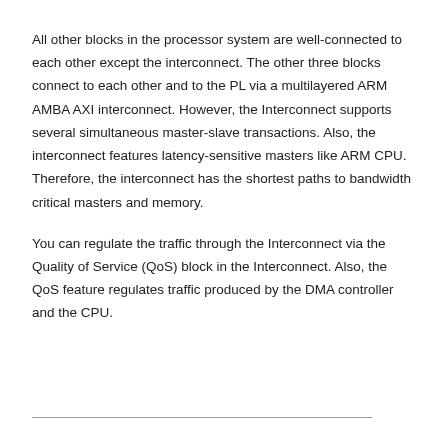All other blocks in the processor system are well-connected to each other except the interconnect. The other three blocks connect to each other and to the PL via a multilayered ARM AMBA AXI interconnect. However, the Interconnect supports several simultaneous master-slave transactions. Also, the interconnect features latency-sensitive masters like ARM CPU. Therefore, the interconnect has the shortest paths to bandwidth critical masters and memory.
You can regulate the traffic through the Interconnect via the Quality of Service (QoS) block in the Interconnect. Also, the QoS feature regulates traffic produced by the DMA controller and the CPU.